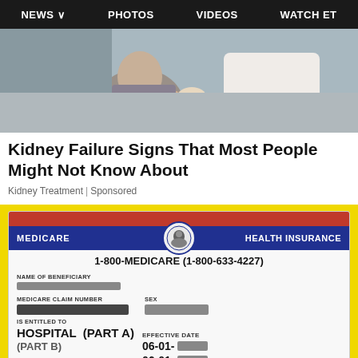NEWS  PHOTOS  VIDEOS  WATCH ET
[Figure (photo): Medical photo showing a doctor examining a patient, hands on patient's midsection/torso area.]
Kidney Failure Signs That Most People Might Not Know About
Kidney Treatment | Sponsored
[Figure (photo): Medicare Health Insurance card on a yellow background. Shows: 1-800-MEDICARE (1-800-633-4227), NAME OF BENEFICIARY (redacted), MEDICARE CLAIM NUMBER (redacted), SEX (redacted), IS ENTITLED TO: HOSPITAL (PART A) EFFECTIVE DATE 06-01- (redacted), (PART B) 06-01- (redacted).]